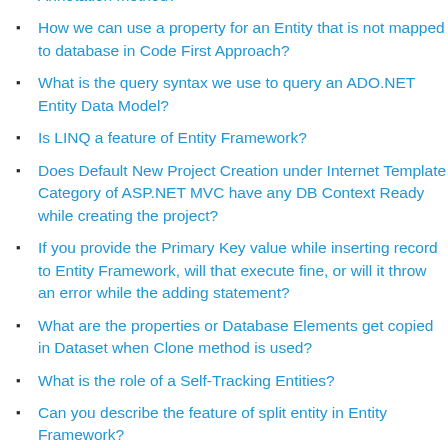How we can enforce number of characters (minimum or maximum) for a field using Entity Framework Property Annotation method?
How we can use a property for an Entity that is not mapped to database in Code First Approach?
What is the query syntax we use to query an ADO.NET Entity Data Model?
Is LINQ a feature of Entity Framework?
Does Default New Project Creation under Internet Template Category of ASP.NET MVC have any DB Context Ready while creating the project?
If you provide the Primary Key value while inserting record to Entity Framework, will that execute fine, or will it throw an error while the adding statement?
What are the properties or Database Elements get copied in Dataset when Clone method is used?
What is the role of a Self-Tracking Entities?
Can you describe the feature of split entity in Entity Framework?